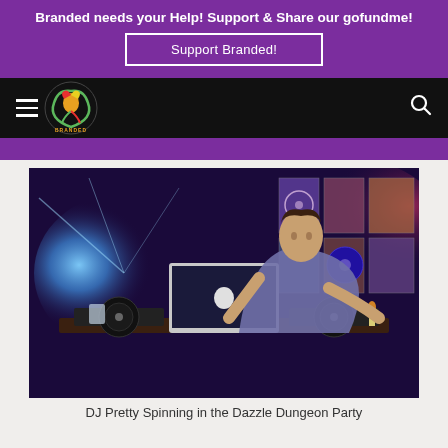Branded needs your Help! Support & Share our gofundme!
Support Branded!
[Figure (logo): Branded magazine logo with colorful dragon/creature on black nav bar]
[Figure (photo): DJ Pretty spinning records at a turntable with a MacBook laptop open, in a dimly lit club venue with colorful blue and purple disco lights and music posters on the wall in the background (Dazzle Dungeon Party)]
DJ Pretty Spinning in the Dazzle Dungeon Party